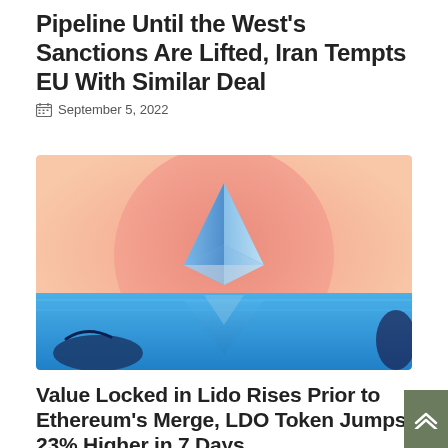Pipeline Until the West's Sanctions Are Lifted, Iran Tempts EU With Similar Deal
September 5, 2022
[Figure (illustration): Illustrated image of the Ethereum logo (blue geometric diamond/crystal shape) in front of a large pink/salmon circle (sun), above blue water/waves, with a dark object in the lower left. The scene suggests Ethereum Merge imagery.]
Value Locked in Lido Rises Prior to Ethereum's Merge, LDO Token Jumps 23% Higher in 7 Days